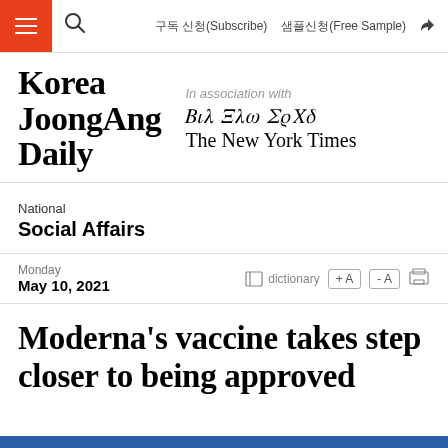구독 신청(Subscribe)   샘플신청(Free Sample)
[Figure (logo): Korea JoongAng Daily logo in association with The New York Times]
National
Social Affairs
Monday
May 10, 2021
Moderna's vaccine takes step closer to being approved